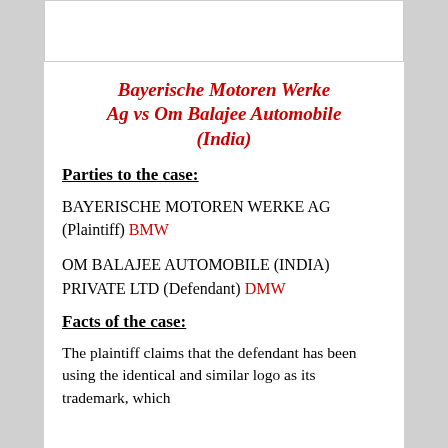Bayerische Motoren Werke Ag vs Om Balajee Automobile (India)
Parties to the case:
BAYERISCHE MOTOREN WERKE AG (Plaintiff) BMW
OM BALAJEE AUTOMOBILE (INDIA) PRIVATE LTD (Defendant) DMW
Facts of the case:
The plaintiff claims that the defendant has been using the identical and similar logo as its trademark, which